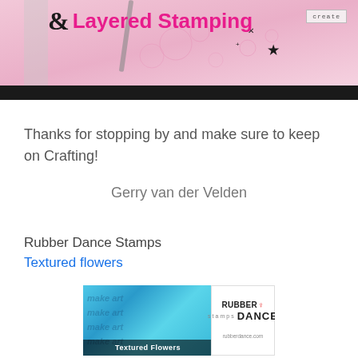[Figure (photo): Banner image showing '& Layered Stamping' title with pink background, stamping artwork, and a black bar at bottom. A 'create' stamp badge in the top right corner.]
Thanks for stopping by and make sure to keep on Crafting!
Gerry van der Velden
Rubber Dance Stamps
Textured flowers
[Figure (photo): Product image for Rubber Dance Stamps 'Textured Flowers' showing blue textured background with 'make art' text repeated, and a white Rubber Dance logo box on the right with 'rubberdance.com'.]